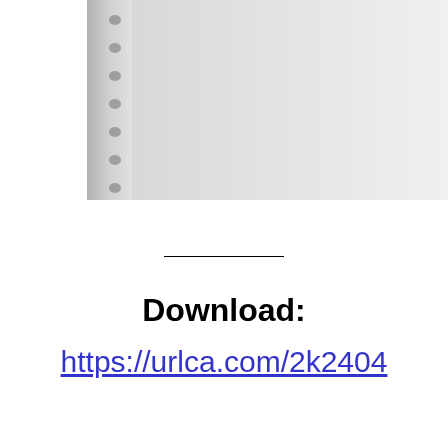[Figure (photo): A spiral-bound notebook or binder shown from the left side, with grey/white pages visible and spiral binding on the left edge. The image is partially cropped showing only the upper portion of the document.]
Download: https://urlca.com/2k2404